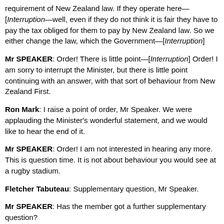requirement of New Zealand law. If they operate here—[Interruption—well, even if they do not think it is fair they have to pay the tax obliged for them to pay by New Zealand law. So we either change the law, which the Government—[Interruption]
Mr SPEAKER: Order! There is little point—[Interruption] Order! I am sorry to interrupt the Minister, but there is little point continuing with an answer, with that sort of behaviour from New Zealand First.
Ron Mark: I raise a point of order, Mr Speaker. We were applauding the Minister's wonderful statement, and we would like to hear the end of it.
Mr SPEAKER: Order! I am not interested in hearing any more. This is question time. It is not about behaviour you would see at a rugby stadium.
Fletcher Tabuteau: Supplementary question, Mr Speaker.
Mr SPEAKER: Has the member got a further supplementary question?